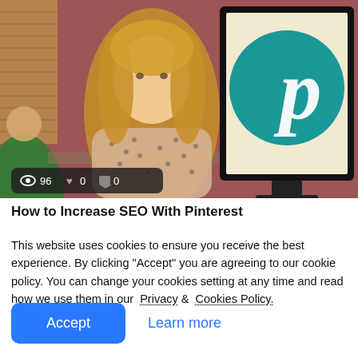[Figure (screenshot): Video thumbnail showing a woman presenter with long blonde hair in a polka-dot top standing in front of a monitor displaying the Pinterest logo (teal circle with white 'p'), in an office setting with a red wall and blinds. Stats bar shows eye icon 96, heart 0, comment 0.]
How to Increase SEO With Pinterest
This website uses cookies to ensure you receive the best experience. By clicking "Accept" you are agreeing to our cookie policy. You can change your cookies setting at any time and read how we use them in our Privacy & Cookies Policy.
Accept
Learn more